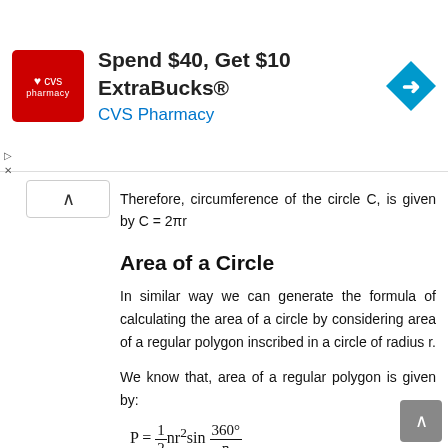[Figure (other): CVS Pharmacy advertisement banner: 'Spend $40, Get $10 ExtraBucks® CVS Pharmacy' with red CVS logo and blue navigation arrow icon]
Therefore, circumference of the circle C, is given by C = 2πr
Area of a Circle
In similar way we can generate the formula of calculating the area of a circle by considering area of a regular polygon inscribed in a circle of radius r.
We know that, area of a regular polygon is given by: